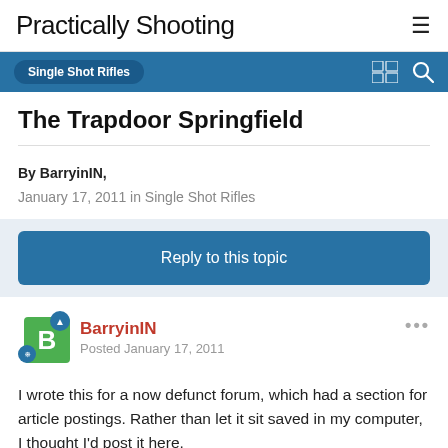Practically Shooting
Single Shot Rifles
The Trapdoor Springfield
By BarryinIN,
January 17, 2011 in Single Shot Rifles
Reply to this topic
BarryinIN
Posted January 17, 2011
I wrote this for a now defunct forum, which had a section for article postings. Rather than let it sit saved in my computer, I thought I'd post it here.